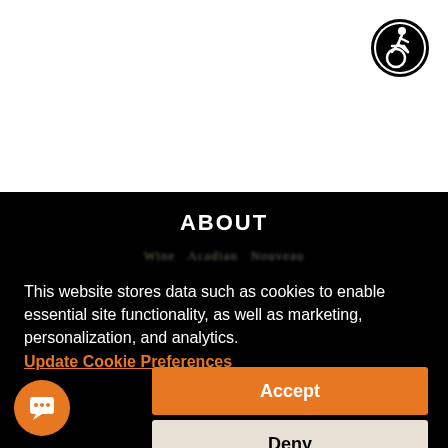[Figure (logo): Accessibility icon — person in wheelchair inside a black circle, white background, top-right corner]
ABOUT
Wine Acadian Nouveau (blurred/partially obscured text)
This website stores data such as cookies to enable essential site functionality, as well as marketing, personalization, and analytics. Update Cookie Preferences
Accept
Deny
[Figure (illustration): Orange circle chat bubble icon, bottom-left corner]